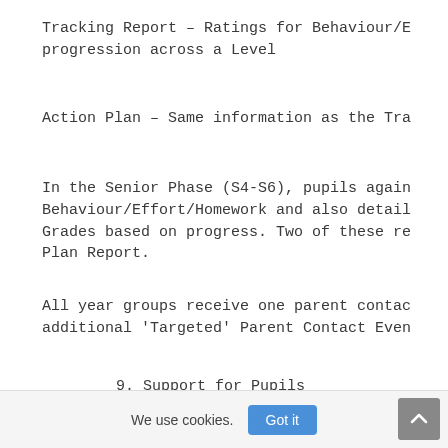Tracking Report – Ratings for Behaviour/E progression across a Level
Action Plan – Same information as the Tra
In the Senior Phase (S4-S6), pupils again Behaviour/Effort/Homework and also detail Grades based on progress. Two of these re Plan Report.
All year groups receive one parent contac additional 'Targeted' Parent Contact Even
9. Support for Pupils
All pupils need support to help them lear the identification, planning and provisi